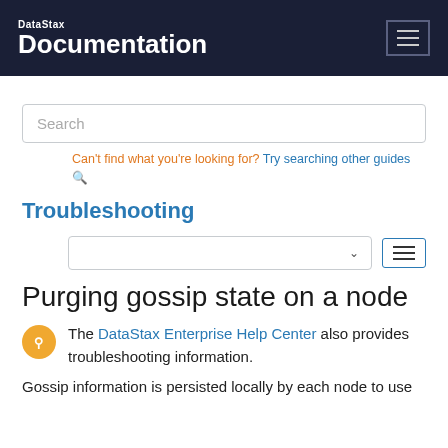DataStax Documentation
Search
Can't find what you're looking for? Try searching other guides
Troubleshooting
Purging gossip state on a node
The DataStax Enterprise Help Center also provides troubleshooting information.
Gossip information is persisted locally by each node to use